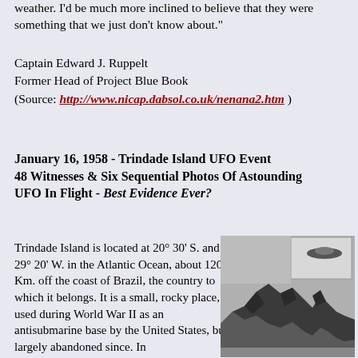weather. I'd be much more inclined to believe that they were something that we just don't know about."
Captain Edward J. Ruppelt
Former Head of Project Blue Book
(Source: http://www.nicap.dabsol.co.uk/nenana2.htm )
January 16, 1958 - Trindade Island UFO Event 48 Witnesses & Six Sequential Photos Of Astounding UFO In Flight - Best Evidence Ever?
Trindade Island is located at 20° 30' S. and 29° 20' W. in the Atlantic Ocean, about 1200 Km. off the coast of Brazil, the country to which it belongs. It is a small, rocky place, used during World War II as an antisubmarine base by the United States, but largely abandoned since. In
[Figure (photo): Black and white photograph of rocky island cliffs with an inset showing a UFO (Saturn-shaped object) in the sky above.]